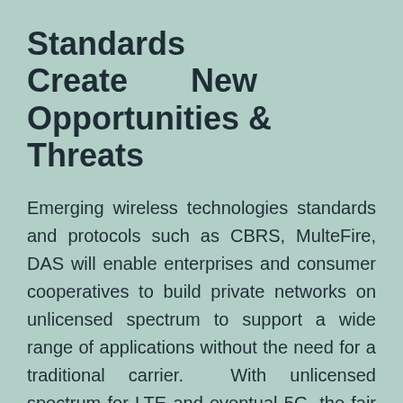Standards Create New Opportunities & Threats
Emerging wireless technologies standards and protocols such as CBRS, MulteFire, DAS will enable enterprises and consumer cooperatives to build private networks on unlicensed spectrum to support a wide range of applications without the need for a traditional carrier.  With unlicensed spectrum for LTE and eventual 5G, the fair sharing of spectrum will be fostered by LBT (Listen Before Talk) and policy enforcement by regulatory bodies such